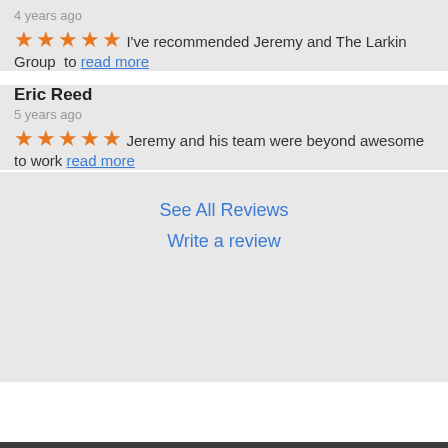4 years ago
I've recommended Jeremy and The Larkin Group  to read more
Eric Reed
5 years ago
Jeremy and his team were beyond awesome to work read more
See All Reviews
Write a review
Keller Williams Realty | Address: 50 E 100 S 300, St. George, UT | Phone: 435-215-45...